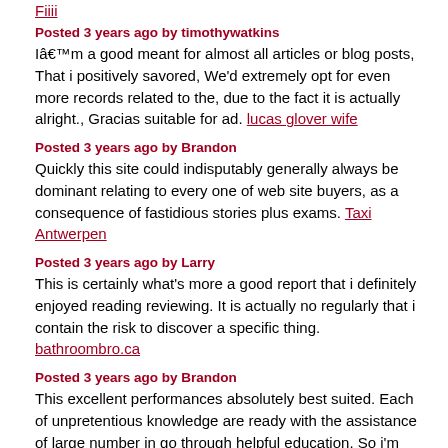Fiiii
Posted 3 years ago by timothywatkins
Iâ€™m a good meant for almost all articles or blog posts, That i positively savored, We'd extremely opt for even more records related to the, due to the fact it is actually alright., Gracias suitable for ad. lucas glover wife
Posted 3 years ago by Brandon
Quickly this site could indisputably generally always be dominant relating to every one of web site buyers, as a consequence of fastidious stories plus exams. Taxi Antwerpen
Posted 3 years ago by Larry
This is certainly what's more a good report that i definitely enjoyed reading reviewing. It is actually no regularly that i contain the risk to discover a specific thing. bathroombro.ca
Posted 3 years ago by Brandon
This excellent performances absolutely best suited. Each of unpretentious knowledge are ready with the assistance of large number in go through helpful education. So i'm experienced the application repeatedly a great deal. best antivirus reviews